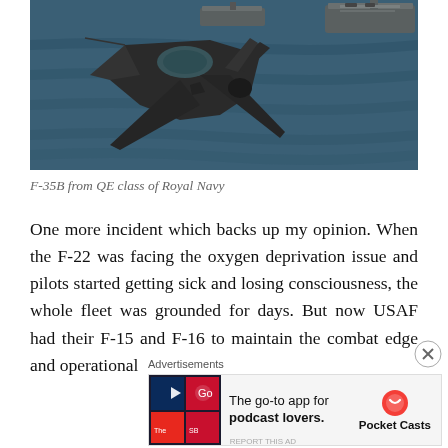[Figure (photo): Aerial photograph of an F-35B fighter jet flying over open ocean with an aircraft carrier visible in the background (QE class Royal Navy)]
F-35B from QE class of Royal Navy
One more incident which backs up my opinion. When the F-22 was facing the oxygen deprivation issue and pilots started getting sick and losing consciousness, the whole fleet was grounded for days. But now USAF had their F-15 and F-16 to maintain the combat edge and operational